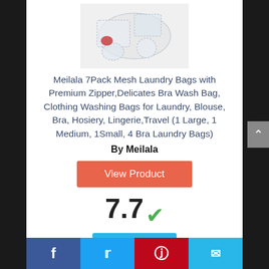[Figure (photo): Product photo of Meilala 7Pack Mesh Laundry Bags set with various sized mesh bags]
Meilala 7Pack Mesh Laundry Bags with Premium Zipper,Delicates Bra Wash Bag, Clothing Washing Bags for Laundry, Blouse, Bra, Hosiery, Lingerie,Travel (1 Large, 1 Medium, 1Small, 4 Bra Laundry Bags)
By Meilala
View Product
7.7 ✓
Score